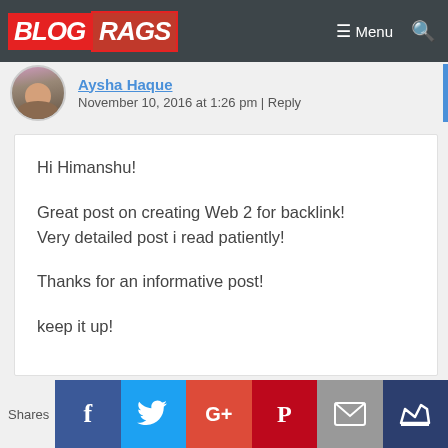BLOG RAGS | Menu
Aysha Haque
November 10, 2016 at 1:26 pm | Reply
Hi Himanshu!

Great post on creating Web 2 for backlink! Very detailed post i read patiently!

Thanks for an informative post!

keep it up!
Shares | Facebook | Twitter | Google+ | Pinterest | Email | Crown